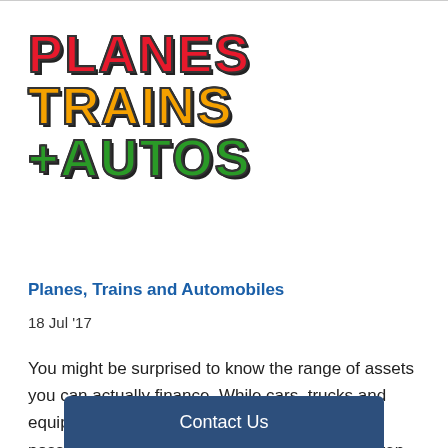[Figure (logo): Planes Trains +Autos logo with PLANES in red, TRAINS in yellow/orange, +AUTOS in green, bold block letters with dark outline]
Planes, Trains and Automobiles
18 Jul '17
You might be surprised to know the range of assets you can actually finance. While cars, trucks and equipment are items commonly financed, it is possible to finance boats, buses, planes and even office fit outs.
Contact Us